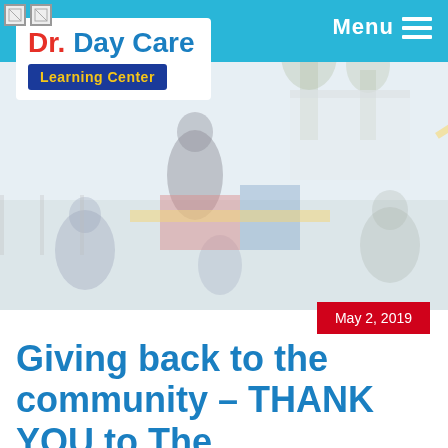[Figure (screenshot): Website header with Dr. Day Care Learning Center logo on white background, blue navigation bar with Menu button and hamburger icon on the right]
[Figure (photo): Faded/washed-out photo of children on an outdoor playground with colorful play equipment including a yellow slide, adults supervising]
May 2, 2019
Giving back to the community – THANK YOU to The